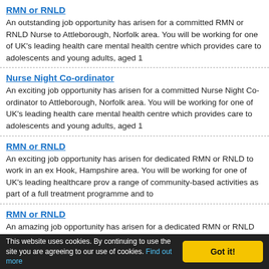RMN or RNLD
An outstanding job opportunity has arisen for a committed RMN or RNLD Nurse to Attleborough, Norfolk area. You will be working for one of UK's leading health care mental health centre which provides care to adolescents and young adults, aged 1
Nurse Night Co-ordinator
An exciting job opportunity has arisen for a committed Nurse Night Co-ordinator to Attleborough, Norfolk area. You will be working for one of UK's leading health care mental health centre which provides care to adolescents and young adults, aged 1
RMN or RNLD
An exciting job opportunity has arisen for dedicated RMN or RNLD to work in an ex Hook, Hampshire area. You will be working for one of UK's leading healthcare prov a range of community-based activities as part of a full treatment programme and to
RMN or RNLD
An amazing job opportunity has arisen for a dedicated RMN or RNLD to work in a & recovery unit based in the Walsall, West Midlands area. You will be working for o is a rehabilitation and recovery service set within a modern, purpose-built mental h
This website uses cookies. By continuing to use the site you are agreeing to our use of cookies. Find out more